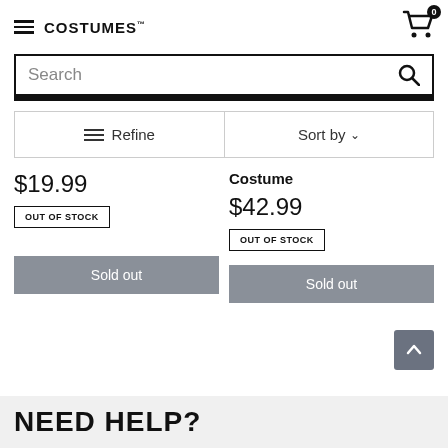COSTUMES
Search
Refine | Sort by
$19.99 OUT OF STOCK
Costume $42.99 OUT OF STOCK
Sold out
Sold out
NEED HELP?